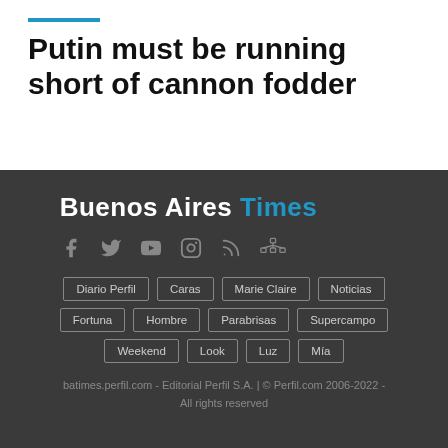Putin must be running short of cannon fodder
[Figure (logo): Buenos Aires Times logo with social media icons]
batimes.perfil.com - Editorial Perfil S.A. | © Perfil.com 2006-2022 - All rights reserved